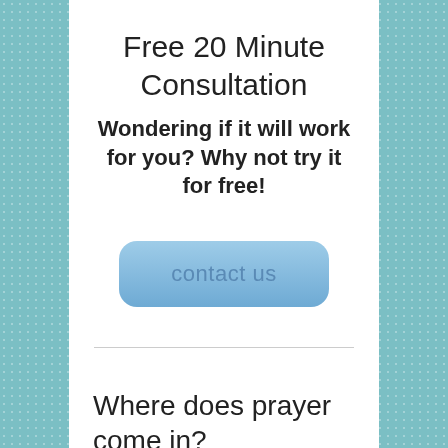Free 20 Minute Consultation
Wondering if it will work for you? Why not try it for free!
[Figure (other): Blue rounded rectangle button with text 'contact us']
Where does prayer come in?